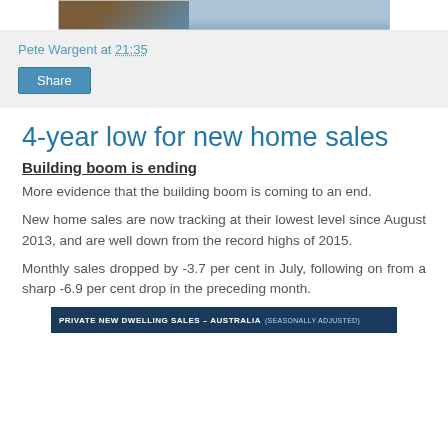[Figure (photo): Partial top image strip showing a sign and water/sky background]
Pete Wargent at 21:35
Share
4-year low for new home sales
Building boom is ending
More evidence that the building boom is coming to an end.
New home sales are now tracking at their lowest level since August 2013, and are well down from the record highs of 2015.
Monthly sales dropped by -3.7 per cent in July, following on from a sharp -6.9 per cent drop in the preceding month.
[Figure (other): Chart header bar: PRIVATE NEW DWELLING SALES - AUSTRALIA (SEASONALLY ADJUSTED)]